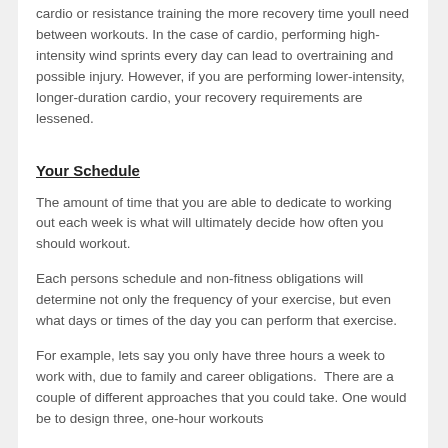cardio or resistance training the more recovery time youll need between workouts. In the case of cardio, performing high-intensity wind sprints every day can lead to overtraining and possible injury. However, if you are performing lower-intensity, longer-duration cardio, your recovery requirements are lessened.
Your Schedule
The amount of time that you are able to dedicate to working out each week is what will ultimately decide how often you should workout.
Each persons schedule and non-fitness obligations will determine not only the frequency of your exercise, but even what days or times of the day you can perform that exercise.
For example, lets say you only have three hours a week to work with, due to family and career obligations.  There are a couple of different approaches that you could take. One would be to design three, one-hour workouts